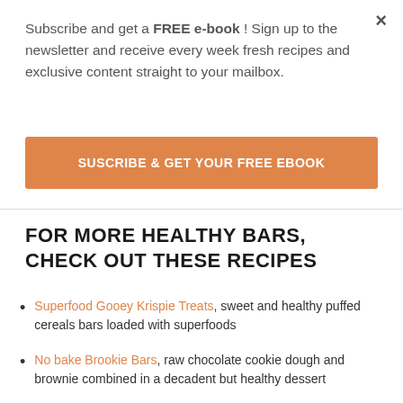Subscribe and get a FREE e-book ! Sign up to the newsletter and receive every week fresh recipes and exclusive content straight to your mailbox.
[Figure (other): Orange button with text SUSCRIBE & GET YOUR FREE EBOOK]
FOR MORE HEALTHY BARS, CHECK OUT THESE RECIPES
Superfood Gooey Krispie Treats, sweet and healthy puffed cereals bars loaded with superfoods
No bake Brookie Bars, raw chocolate cookie dough and brownie combined in a decadent but healthy dessert
Pistachio Apricot Blondies, sweet and chewy blondies made with banana and chickpea